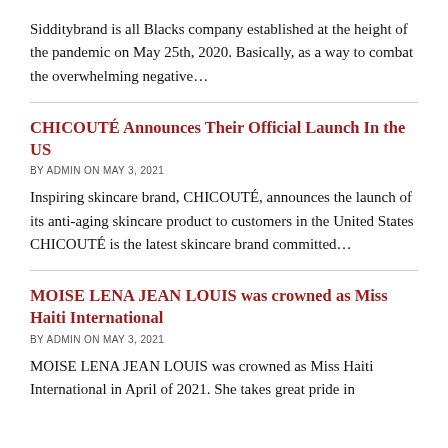Sidditybrand is all Blacks company established at the height of the pandemic on May 25th, 2020. Basically, as a way to combat the overwhelming negative…
CHICOUTÉ Announces Their Official Launch In the US
BY ADMIN ON MAY 3, 2021
Inspiring skincare brand, CHICOUTÉ, announces the launch of its anti-aging skincare product to customers in the United States CHICOUTÉ is the latest skincare brand committed…
MOISE LENA JEAN LOUIS was crowned as Miss Haiti International
BY ADMIN ON MAY 3, 2021
MOISE LENA JEAN LOUIS was crowned as Miss Haiti International in April of 2021. She takes great pride in